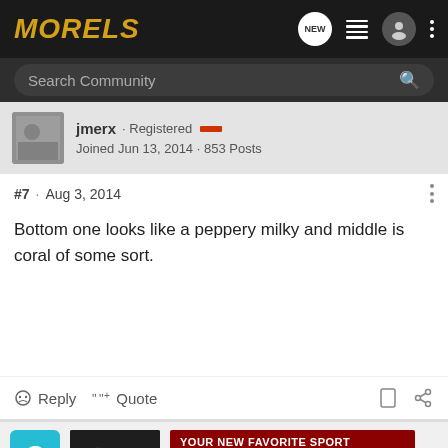MORELS
Search Community
jmerx · Registered
Joined Jun 13, 2014 · 853 Posts
#7 · Aug 3, 2014
Bottom one looks like a peppery milky and middle is coral of some sort.
Reply   Quote
g
J